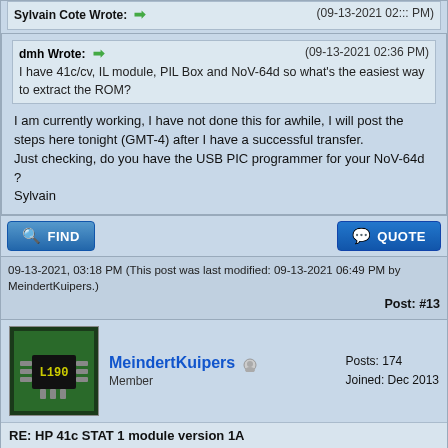Sylvain Cote Wrote: → (09-13-2021 02:xx PM) [truncated top]
dmh Wrote: → (09-13-2021 02:36 PM)
I have 41c/cv, IL module, PIL Box and NoV-64d so what's the easiest way to extract the ROM?
I am currently working, I have not done this for awhile, I will post the steps here tonight (GMT-4) after I have a successful transfer.
Just checking, do you have the USB PIC programmer for your NoV-64d ?
Sylvain
FIND   QUOTE
09-13-2021, 03:18 PM (This post was last modified: 09-13-2021 06:49 PM by MeindertKuipers.) Post: #13
MeindertKuipers  Posts: 174  Joined: Dec 2013  Member
RE: HP 41c STAT 1 module version 1A
Sylvain Cote Wrote: → (09-13-2021 02:31 PM)